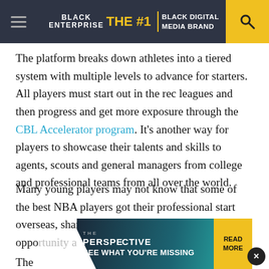BLACK ENTERPRISE THE #1 BLACK DIGITAL MEDIA BRAND
The platform breaks down athletes into a tiered system with multiple levels to advance for starters. All players must start out in the rec leagues and then progress and get more exposure through the CBL Accelerator program. It’s another way for players to showcase their talents and skills to agents, scouts and general managers from college and professional teams from all over the world.
Many young players may not know that some of the best NBA players got their professional start overseas, sharpened their skills and were given an oppo…
The…
[Figure (screenshot): Advertisement banner: THE PERSPECTIVE - SEE WHAT YOU'RE MISSING - READ MORE]